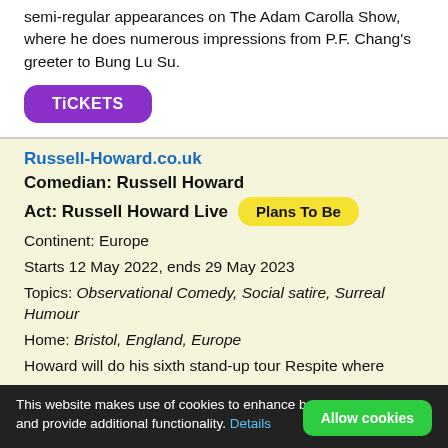semi-regular appearances on The Adam Carolla Show, where he does numerous impressions from P.F. Chang's greeter to Bung Lu Su.
TiCKETS
Russell-Howard.co.uk
Comedian: Russell Howard
Act: Russell Howard Live   Plans To Be
Continent: Europe
Starts 12 May 2022, ends 29 May 2023
Topics: Observational Comedy, Social satire, Surreal Humour
Home: Bristol, England, Europe
Howard will do his sixth stand-up tour Respite where
This website makes use of cookies to enhance browsing experience and provide additional functionality. Details   Allow cookies